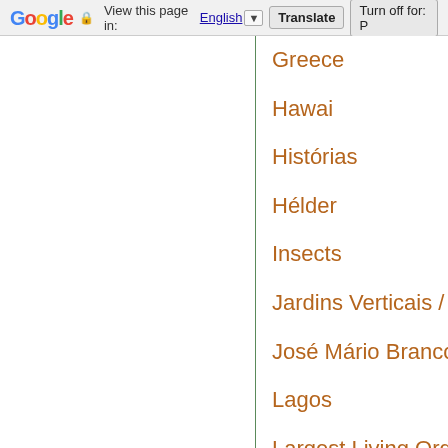Google  View this page in: English [▼]  Translate  Turn off for: P
Greece
Hawai
Histórias
Hélder
Insects
Jardins Verticais / Vertical garc
José Mário Branco
Lagos
Largest Living Organism on ea
Life
Livros
Maior flor do mundo / Worlds